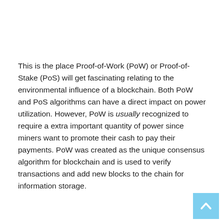This is the place Proof-of-Work (PoW) or Proof-of-Stake (PoS) will get fascinating relating to the environmental influence of a blockchain. Both PoW and PoS algorithms can have a direct impact on power utilization. However, PoW is usually recognized to require a extra important quantity of power since miners want to promote their cash to pay their payments. PoW was created as the unique consensus algorithm for blockchain and is used to verify transactions and add new blocks to the chain for information storage.